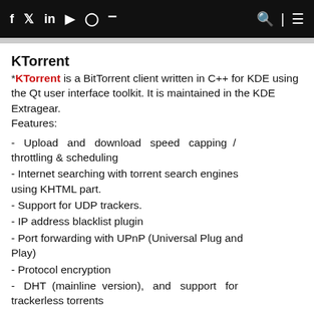f  t  in  yt  inst  rss  [search] [menu]
KTorrent
*KTorrent is a BitTorrent client written in C++ for KDE using the Qt user interface toolkit. It is maintained in the KDE Extragear.
Features:
- Upload and download speed capping / throttling & scheduling
- Internet searching with torrent search engines using KHTML part.
- Support for UDP trackers.
- IP address blacklist plugin
- Port forwarding with UPnP (Universal Plug and Play)
- Protocol encryption
- DHT (mainline version), and support for trackerless torrents